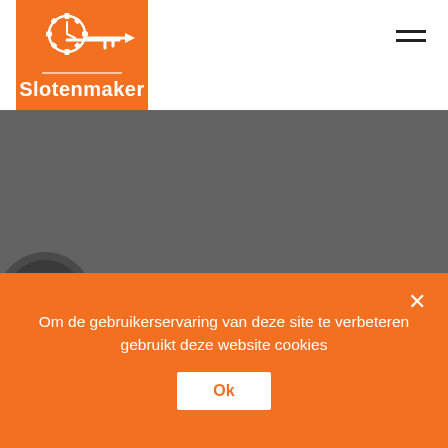[Figure (logo): Slotenmaker logo: orange square with white gear/clock and key icon above a horizontal line and the word Slotenmaker in white bold text]
[Figure (other): Hamburger menu icon (three horizontal black lines) in top right corner]
[Figure (photo): Hero image of a dark metal door handle/lever on a grey background]
Om de gebruikerservaring van deze site te verbeteren gebruikt deze website cookies
Ok